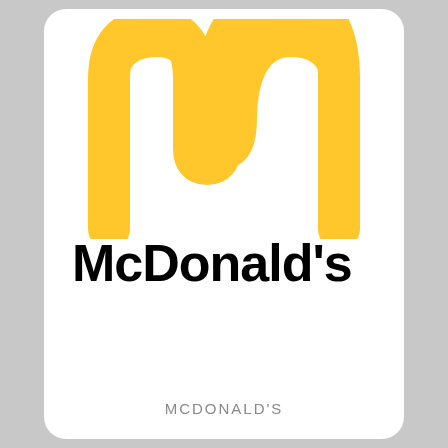[Figure (logo): McDonald's golden arches logo — two large golden-yellow arches forming the letter M on a white background]
McDonald's
MCDONALD'S